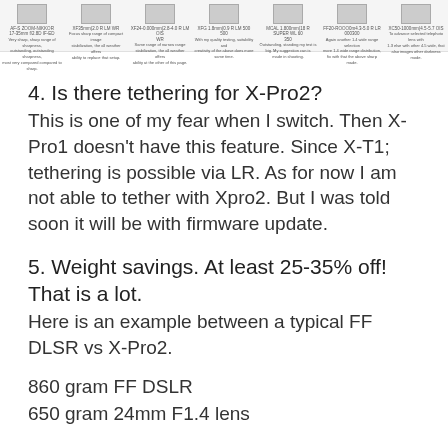[Strip of small camera/product images with captions]
4. Is there tethering for X-Pro2?
This is one of my fear when I switch. Then X-Pro1 doesn't have this feature. Since X-T1; tethering is possible via LR. As for now I am not able to tether with Xpro2. But I was told soon it will be with firmware update.
5. Weight savings. At least 25-35% off! That is a lot.
Here is an example between a typical FF DLSR vs X-Pro2.
860 gram FF DSLR
650 gram 24mm F1.4 lens